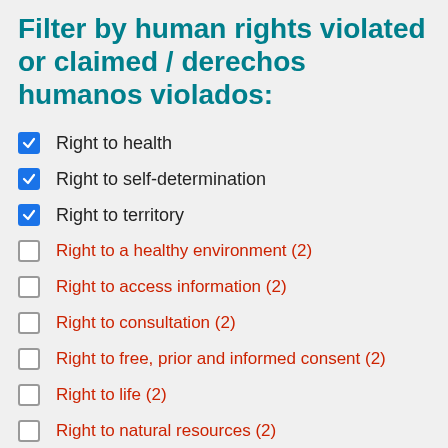Filter by human rights violated or claimed / derechos humanos violados:
Right to health
Right to self-determination
Right to territory
Right to a healthy environment (2)
Right to access information (2)
Right to consultation (2)
Right to free, prior and informed consent (2)
Right to life (2)
Right to natural resources (2)
Right to safety and personal integrity (2)
Right to water (2)
Right to collective property (1)
Right to due process (1)